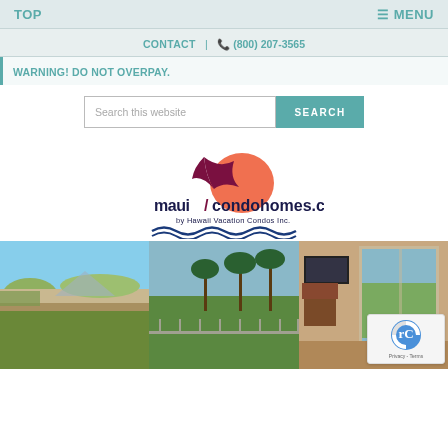TOP   ≡ MENU
CONTACT | ☎ (800) 207-3565
WARNING! DO NOT OVERPAY.
[Figure (other): Search bar with text input 'Search this website' and teal SEARCH button]
[Figure (logo): mauicondohomes.com logo by Hawaii Vacation Condos Inc. with sunset and bird illustration and wave decoration]
[Figure (photo): Three photos side by side: left shows sandy coastal landscape with water and mountains; center shows golf course with palm trees and railing; right shows interior of condo with sliding glass door to balcony overlooking green landscape]